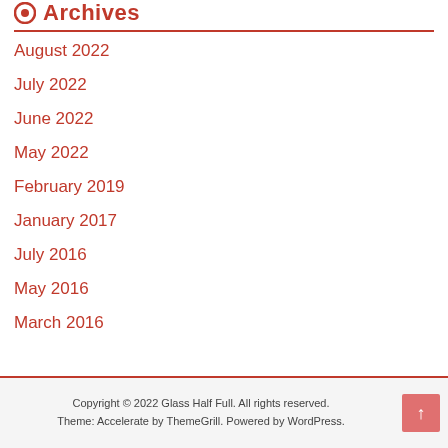Archives
August 2022
July 2022
June 2022
May 2022
February 2019
January 2017
July 2016
May 2016
March 2016
Copyright © 2022 Glass Half Full. All rights reserved.
Theme: Accelerate by ThemeGrill. Powered by WordPress.